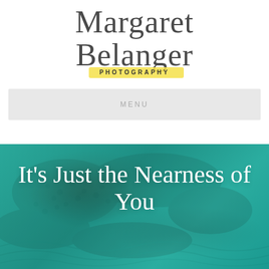[Figure (logo): Margaret Belanger Photography logo — script handwritten text 'Margaret Belanger' in dark gray with a yellow highlight bar behind the word 'PHOTOGRAPHY' in small caps]
MENU
[Figure (photo): Teal/turquoise underwater or textured aquatic background with fish scales visible, overlaid with white script text reading 'It's Just the Nearness of You']
It's Just the Nearness of You